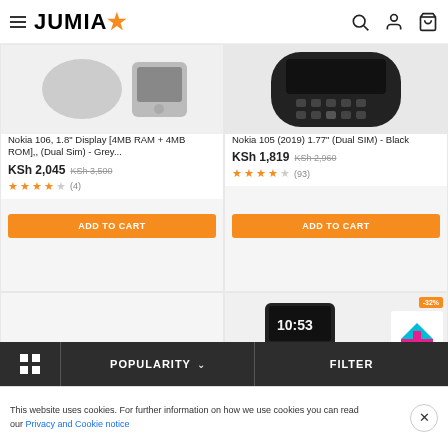JUMIA
[Figure (photo): Nokia 106 phone product image - grey]
Nokia 106, 1.8" Display [4MB RAM + 4MB ROM],, (Dual Sim) - Grey...
KSh 2,045  KSh 3,500
★★★★☆ (4)
ADD TO CART
[Figure (photo): Nokia 105 2019 phone product image - black]
Nokia 105 (2019) 1.77" (Dual SIM) - Black
KSh 1,819  KSh 2,960
★★★★☆ (93)
ADD TO CART
[Figure (photo): Mobile phone product with 100% badge and -9% free gift badge]
[Figure (photo): Flip phone showing 10:53 time with -32% free gift badge]
POPULARITY ∨
FILTER
This website uses cookies. For further information on how we use cookies you can read our Privacy and Cookie notice